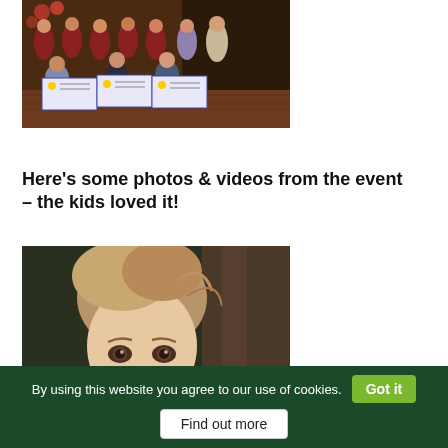[Figure (photo): Group photo of people in dark red/maroon polo shirts holding large charity cheques, posing together outdoors on a wooden deck with flowers in the background.]
Here’s some photos & videos from the event – the kids loved it!
[Figure (photo): Close-up photo of a young toddler girl with light brown hair looking up at the camera, taken outdoors.]
By using this website you agree to our use of cookies.
Got it
Find out more